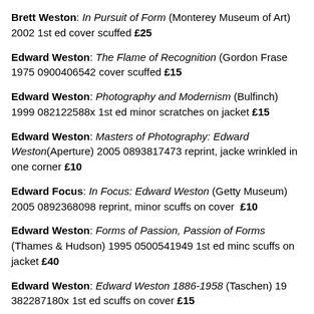Brett Weston: In Pursuit of Form (Monterey Museum of Art) 2002 1st ed cover scuffed £25
Edward Weston: The Flame of Recognition (Gordon Fraser) 1975 0900406542 cover scuffed £15
Edward Weston: Photography and Modernism (Bulfinch) 1999 082122588x 1st ed minor scratches on jacket £15
Edward Weston: Masters of Photography: Edward Weston (Aperture) 2005 0893817473 reprint, jacket wrinkled in one corner £10
Edward Focus: In Focus: Edward Weston (Getty Museum) 2005 0892368098 reprint, minor scuffs on cover £10
Edward Weston: Forms of Passion, Passion of Forms (Thames & Hudson) 1995 0500541949 1st ed minor scuffs on jacket £40
Edward Weston: Edward Weston 1886-1958 (Taschen) 19 382287180x 1st ed scuffs on cover £15
Edward Weston: In Los Angeles (Huntington Library) 198